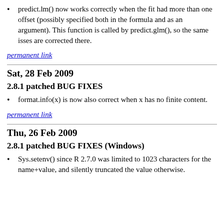predict.lm() now works correctly when the fit had more than one offset (possibly specified both in the formula and as an argument). This function is called by predict.glm(), so the same isses are corrected there.
permanent link
Sat, 28 Feb 2009
2.8.1 patched BUG FIXES
format.info(x) is now also correct when x has no finite content.
permanent link
Thu, 26 Feb 2009
2.8.1 patched BUG FIXES (Windows)
Sys.setenv() since R 2.7.0 was limited to 1023 characters for the name+value, and silently truncated the value otherwise.